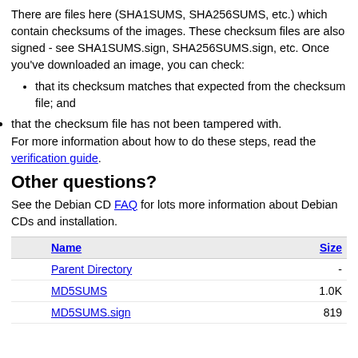There are files here (SHA1SUMS, SHA256SUMS, etc.) which contain checksums of the images. These checksum files are also signed - see SHA1SUMS.sign, SHA256SUMS.sign, etc. Once you've downloaded an image, you can check:
that its checksum matches that expected from the checksum file; and
that the checksum file has not been tampered with.
For more information about how to do these steps, read the verification guide.
Other questions?
See the Debian CD FAQ for lots more information about Debian CDs and installation.
|  | Name | Size |
| --- | --- | --- |
|  | Parent Directory | - |
|  | MD5SUMS | 1.0K |
|  | MD5SUMS.sign | 819 |